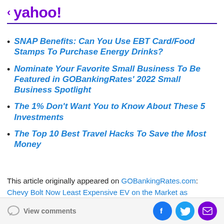< yahoo!
SNAP Benefits: Can You Use EBT Card/Food Stamps To Purchase Energy Drinks?
Nominate Your Favorite Small Business To Be Featured in GOBankingRates' 2022 Small Business Spotlight
The 1% Don't Want You to Know About These 5 Investments
The Top 10 Best Travel Hacks To Save the Most Money
This article originally appeared on GOBankingRates.com: Chevy Bolt Now Least Expensive EV on the Market as
View comments